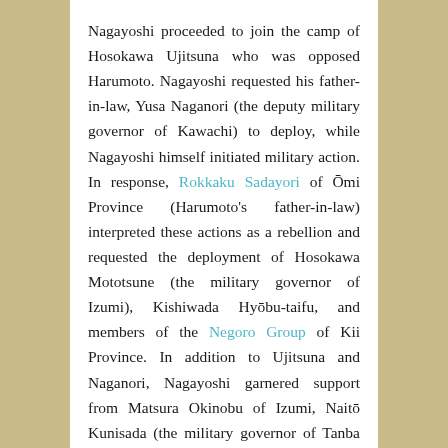Nagayoshi proceeded to join the camp of Hosokawa Ujitsuna who was opposed Harumoto. Nagayoshi requested his father-in-law, Yusa Naganori (the deputy military governor of Kawachi) to deploy, while Nagayoshi himself initiated military action. In response, Rokkaku Sadayori of Ōmi Province (Harumoto's father-in-law) interpreted these actions as a rebellion and requested the deployment of Hosokawa Mototsune (the military governor of Izumi), Kishiwada Hyōbu-taifu, and members of the Negoro Group of Kii Province. In addition to Ujitsuna and Naganori, Nagayoshi garnered support from Matsura Okinobu of Izumi, Naitō Kunisada (the military governor of Tanba Province),